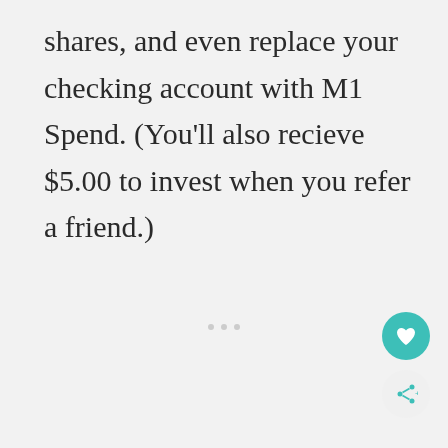shares, and even replace your checking account with M1 Spend. (You'll also recieve $5.00 to invest when you refer a friend.)